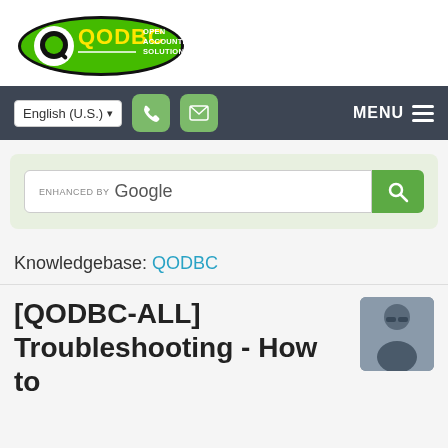[Figure (logo): QODBC Open Accounting Solutions logo - green oval with Q icon and QODBC text in yellow/white on green background]
[Figure (screenshot): Navigation bar with English (U.S.) language selector, phone icon button, email icon button, and MENU hamburger icon on dark gray background]
[Figure (screenshot): Google enhanced search box with green search button on light green background]
Knowledgebase: QODBC
[QODBC-ALL] Troubleshooting - How to
[Figure (photo): Avatar photo of a person wearing sunglasses outdoors]